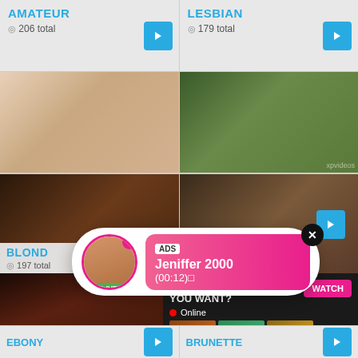AMATEUR
◎ 206 total
LESBIAN
◎ 179 total
[Figure (photo): Thumbnail image left top]
[Figure (photo): Thumbnail image right top]
BLOND
◎ 197 total
[Figure (screenshot): Chat popup overlay: ADS - Jeniffer 2000 (00:12) with LIVE badge]
[Figure (photo): Large thumbnail bottom left]
[Figure (screenshot): Ad popup: WHAT DO YOU WANT? WATCH button, Online, mini thumbnails, Cumming, ass fucking, squirt or... ADS]
EBONY
BRUNETTE